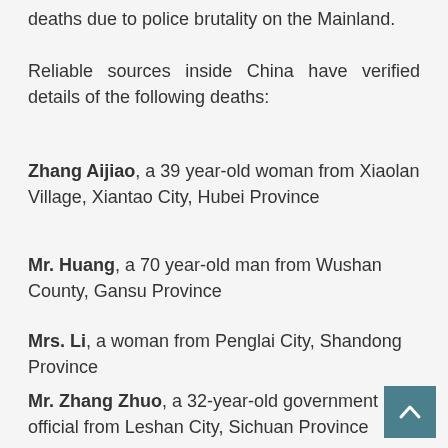deaths due to police brutality on the Mainland.
Reliable sources inside China have verified details of the following deaths:
Zhang Aijiao, a 39 year-old woman from Xiaolan Village, Xiantao City, Hubei Province
Mr. Huang, a 70 year-old man from Wushan County, Gansu Province
Mrs. Li, a woman from Penglai City, Shandong Province
Mr. Zhang Zhuo, a 32-year-old government official from Leshan City, Sichuan Province
Mr. Miao (name partially cut off)